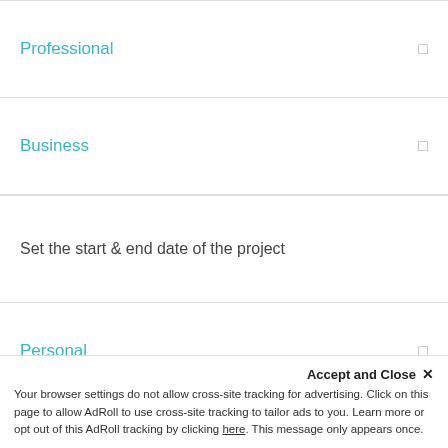Professional
Business
Set the start & end date of the project
Personal
Professi...
Busine...
[Figure (infographic): Notification popup showing: Shaunda from Richmond, Unit... Just Purchased WP Project Manage... About 12 hours ago, with purple avatar icon]
Accept and Close ✕
Your browser settings do not allow cross-site tracking for advertising. Click on this page to allow AdRoll to use cross-site tracking to tailor ads to you. Learn more or opt out of this AdRoll tracking by clicking here. This message only appears once.